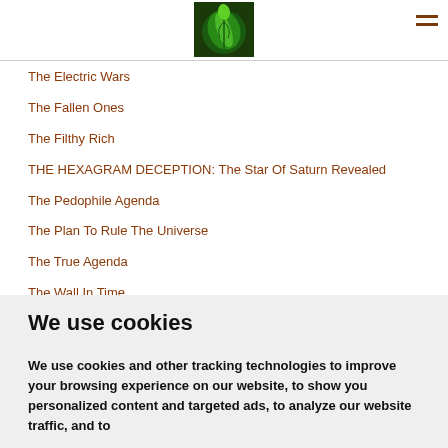[Figure (logo): Green leaf logo image in center of header bar]
The Electric Wars
The Fallen Ones
The Filthy Rich
THE HEXAGRAM DECEPTION: The Star Of Saturn Revealed
The Pedophile Agenda
The Plan To Rule The Universe
The True Agenda
The Wall In Time
We use cookies
We use cookies and other tracking technologies to improve your browsing experience on our website, to show you personalized content and targeted ads, to analyze our website traffic, and to